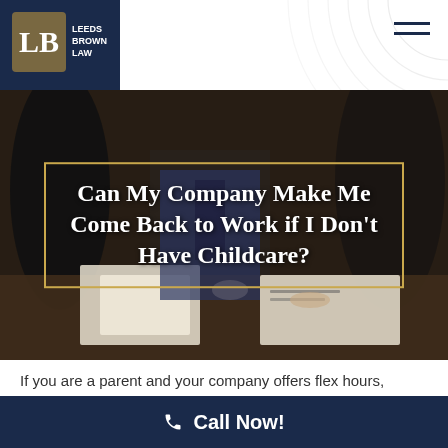[Figure (logo): Leeds Brown Law logo — gold and white LB monogram on navy background with firm name to the right]
[Figure (photo): Dark courtroom/office scene with people in suits reviewing documents on a table, used as hero background image]
Can My Company Make Me Come Back to Work if I Don't Have Childcare?
If you are a parent and your company offers flex hours, chances are you will be able to use these flexible hours to
Call Now!